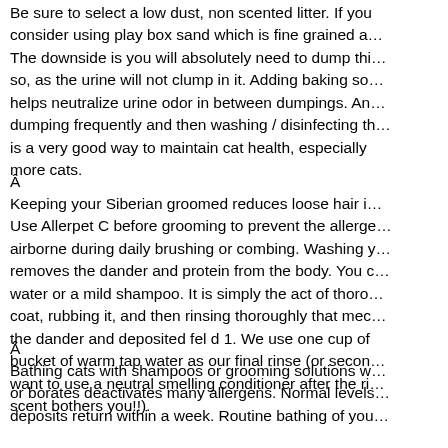Be sure to select a low dust, non scented litter. If you consider using play box sand which is fine grained a… The downside is you will absolutely need to dump thi… so, as the urine will not clump in it. Adding baking so… helps neutralize urine odor in between dumpings. An… dumping frequently and then washing / disinfecting th… is a very good way to maintain cat health, especially more cats.
Â
Keeping your Siberian groomed reduces loose hair i… Use Allerpet C before grooming to prevent the allerge… airborne during daily brushing or combing. Washing y… removes the dander and protein from the body. You c… water or a mild shampoo. It is simply the act of thoro… coat, rubbing it, and then rinsing thoroughly that mec… the dander and deposited fel d 1. We use one cup of bucket of warm tap water as our final rinse (or secon… want to use a neutral smelling conditioner after the ri… scent bothers you!!).
Â
Bathing cats with shampoos or grooming solutions w… or borates deactivates many allergens. Normal levels… deposits return within a week. Routine bathing of you…